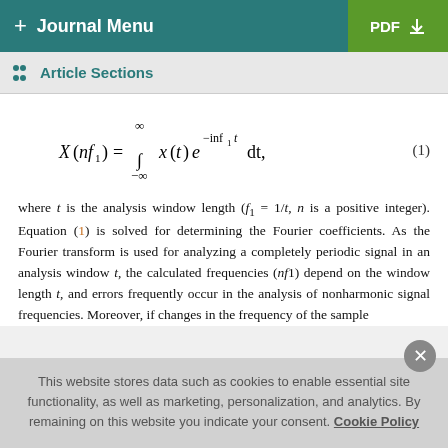+ Journal Menu | PDF ↓
Article Sections
where t is the analysis window length (f₁ = 1/t, n is a positive integer). Equation (1) is solved for determining the Fourier coefficients. As the Fourier transform is used for analyzing a completely periodic signal in an analysis window t, the calculated frequencies (nf1) depend on the window length t, and errors frequently occur in the analysis of nonharmonic signal frequencies. Moreover, if changes in the frequency of the sample
This website stores data such as cookies to enable essential site functionality, as well as marketing, personalization, and analytics. By remaining on this website you indicate your consent. Cookie Policy